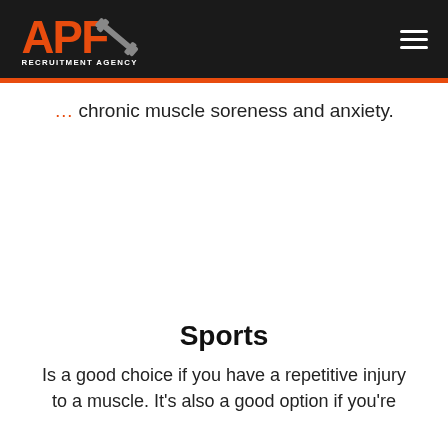APF Recruitment Agency
chronic muscle soreness and anxiety.
Sports
Is a good choice if you have a repetitive injury to a muscle. It's also a good option if you're